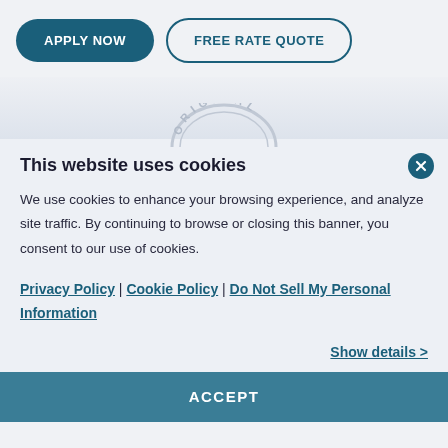[Figure (screenshot): Top navigation bar with two buttons: 'APPLY NOW' (dark teal filled pill button) and 'FREE RATE QUOTE' (outlined pill button)]
[Figure (illustration): Partial circular 'ORIGINAL' stamp/badge graphic shown at the top of the cookie consent banner area]
This website uses cookies
We use cookies to enhance your browsing experience, and analyze site traffic. By continuing to browse or closing this banner, you consent to our use of cookies.
Privacy Policy | Cookie Policy | Do Not Sell My Personal Information
Show details >
ACCEPT